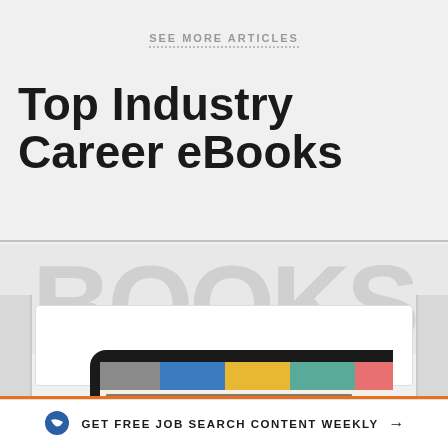SEE MORE ARTICLES
Top Industry Career eBooks
[Figure (illustration): Decorative background with large light gray 'BOOKS' text, bookshelf columns, a white card panel, and a tablet device showing colored horizontal strips representing an eBook cover]
GET FREE JOB SEARCH CONTENT WEEKLY →